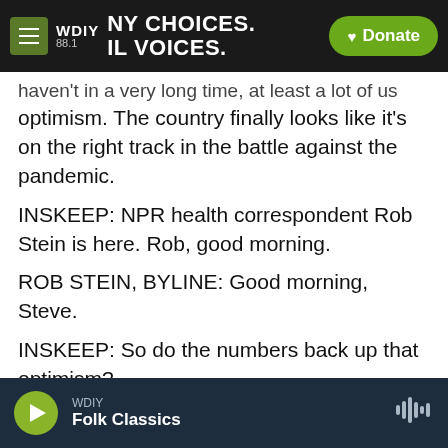WDIY 88.1 — NY CHOICES. IL VOICES. [Donate]
haven't in a very long time, at least a lot of us optimism. The country finally looks like it's on the right track in the battle against the pandemic.
INSKEEP: NPR health correspondent Rob Stein is here. Rob, good morning.
ROB STEIN, BYLINE: Good morning, Steve.
INSKEEP: So do the numbers back up that optimism?
STEIN: Yeah, you know, they do. Everything is going in the right direction and has been for some time
WDIY — Folk Classics